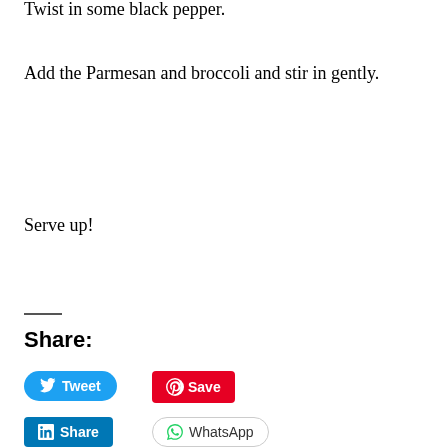Twist in some black pepper.
Add the Parmesan and broccoli and stir in gently.
Serve up!
Share:
[Figure (infographic): Social share buttons: Tweet (Twitter/blue), Save (Pinterest/red), Print (grey outline), Share (LinkedIn/blue), WhatsApp (green outline)]